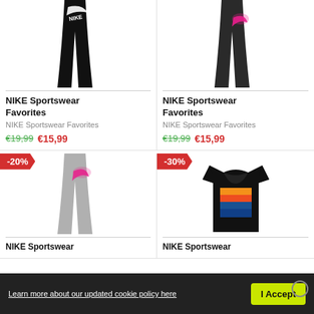[Figure (photo): Black Nike sportswear leggings with white swoosh logo]
[Figure (photo): Dark grey/black Nike sportswear leggings with pink swoosh logo]
NIKE Sportswear Favorites
NIKE Sportswear Favorites
€19,99  €15,99
€19,99  €15,99
[Figure (photo): Grey Nike sportswear leggings with pink swoosh logo, -20% discount badge]
[Figure (photo): Black Nike sportswear t-shirt with colorful graphic, -30% discount badge]
NIKE Sportswear
NIKE Sportswear
Learn more about our updated cookie policy here   I Accept